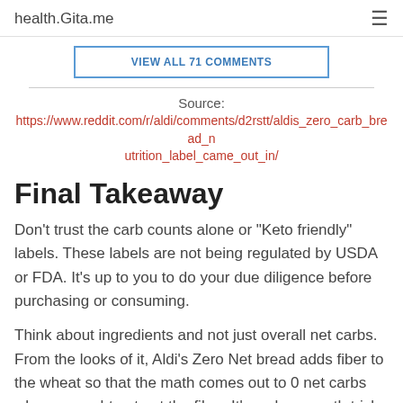health.Gita.me
VIEW ALL 71 COMMENTS
Source:
https://www.reddit.com/r/aldi/comments/d2rstt/aldis_zero_carb_bread_nutrition_label_came_out_in/
Final Takeaway
Don't trust the carb counts alone or "Keto friendly" labels. These labels are not being regulated by USDA or FDA. It's up to you to do your due diligence before purchasing or consuming.
Think about ingredients and not just overall net carbs. From the looks of it, Aldi's Zero Net bread adds fiber to the wheat so that the math comes out to 0 net carbs when you subtract out the fiber. It's a clever math trick to lower carb